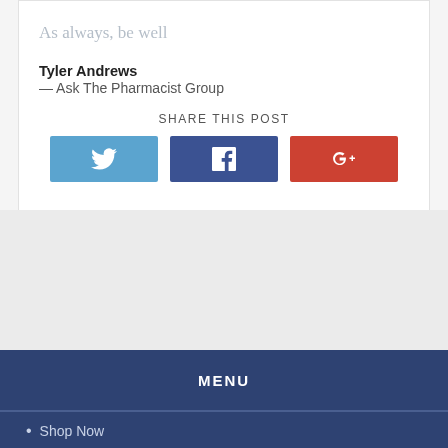As always, be well
Tyler Andrews
— Ask The Pharmacist Group
SHARE THIS POST
[Figure (other): Three social share buttons: Twitter (blue), Facebook (dark blue), Google+ (red)]
MENU
Shop Now